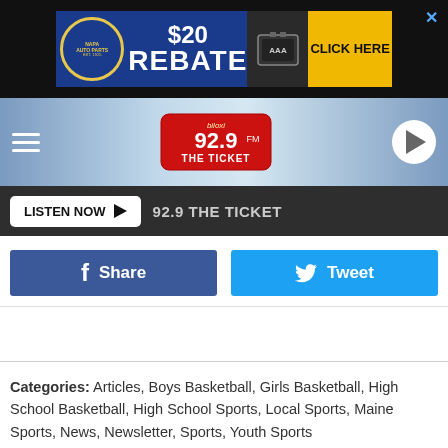[Figure (screenshot): NAPA Auto Parts $20 Rebate advertisement banner with battery and AAA logo, yellow CLICK HERE button]
[Figure (logo): 92.9 FM The Ticket radio station logo with hamburger menu and play button]
LISTEN NOW  92.9 THE TICKET
[Figure (screenshot): Facebook Share button and Twitter Tweet button]
Categories: Articles, Boys Basketball, Girls Basketball, High School Basketball, High School Sports, Local Sports, Maine Sports, News, Newsletter, Sports, Youth Sports
Comments
[Figure (screenshot): Whale watching advertisement: See Humpback, Finback And Minke Whales, Book Online]